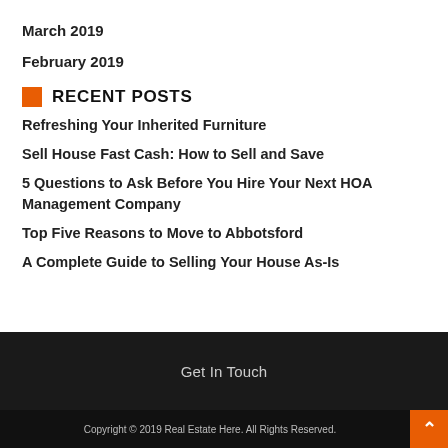March 2019
February 2019
RECENT POSTS
Refreshing Your Inherited Furniture
Sell House Fast Cash: How to Sell and Save
5 Questions to Ask Before You Hire Your Next HOA Management Company
Top Five Reasons to Move to Abbotsford
A Complete Guide to Selling Your House As-Is
Get In Touch
Copyright © 2019 Real Estate Here. All Rights Reserved.